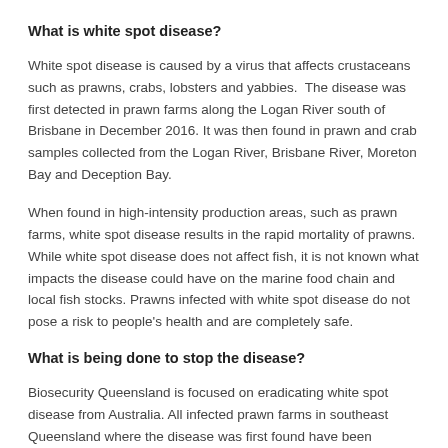What is white spot disease?
White spot disease is caused by a virus that affects crustaceans such as prawns, crabs, lobsters and yabbies.  The disease was first detected in prawn farms along the Logan River south of Brisbane in December 2016. It was then found in prawn and crab samples collected from the Logan River, Brisbane River, Moreton Bay and Deception Bay.
When found in high-intensity production areas, such as prawn farms, white spot disease results in the rapid mortality of prawns. While white spot disease does not affect fish, it is not known what impacts the disease could have on the marine food chain and local fish stocks. Prawns infected with white spot disease do not pose a risk to people's health and are completely safe.
What is being done to stop the disease?
Biosecurity Queensland is focused on eradicating white spot disease from Australia. All infected prawn farms in southeast Queensland where the disease was first found have been decontaminated and